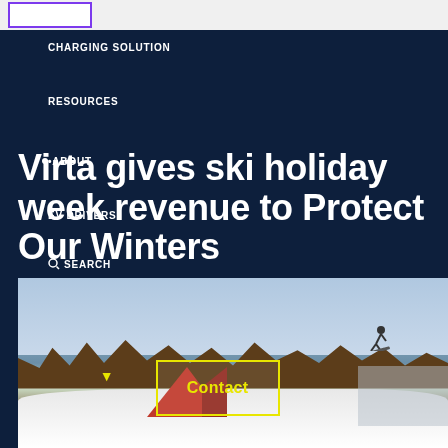CHARGING SOLUTION
RESOURCES
•ABOUT
EV DRIVERS
SEARCH
Virta gives ski holiday week revenue to Protect Our Winters
[Figure (photo): A snowy outdoor scene with a snowboarder in the air, red triangular structure on snow, bare winter trees in background, and a yellow-outlined Contact button overlay with a yellow dropdown arrow]